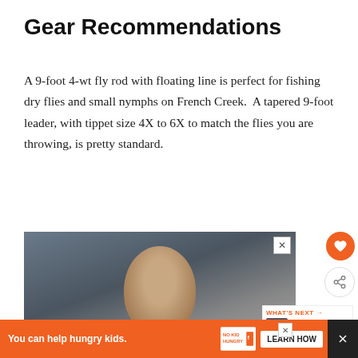Gear Recommendations
A 9-foot 4-wt fly rod with floating line is perfect for fishing dry flies and small nymphs on French Creek.  A tapered 9-foot leader, with tippet size 4X to 6X to match the flies you are throwing, is pretty standard.
[Figure (photo): Advertisement photo of a young child with text 'You can help' overlaid, with an X close button in the top right corner.]
[Figure (photo): Small thumbnail image for 'What's Next' section showing a fly fishing related image.]
WHAT'S NEXT → DIY Guide to Fly Fishing...
[Figure (infographic): Bottom banner advertisement: 'You can help hungry kids.' with No Kid Hungry logo and a LEARN HOW button on orange background.]